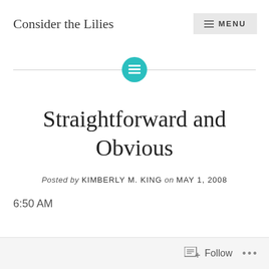Consider the Lilies
[Figure (illustration): Teal circular icon with horizontal lines (list/menu icon) centered on a horizontal gray divider line]
Straightforward and Obvious
Posted by KIMBERLY M. KING on MAY 1, 2008
6:50 AM
Follow  ...